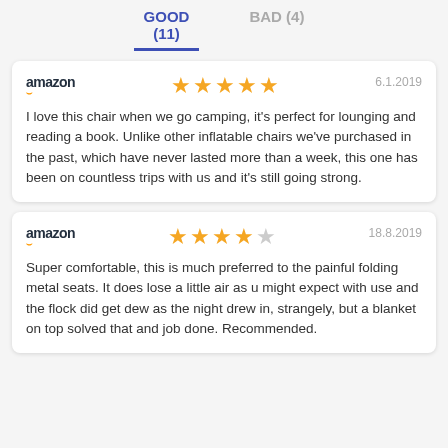GOOD (11)
BAD (4)
amazon  ★★★★★  6.1.2019
I love this chair when we go camping, it's perfect for lounging and reading a book. Unlike other inflatable chairs we've purchased in the past, which have never lasted more than a week, this one has been on countless trips with us and it's still going strong.
amazon  ★★★★☆  18.8.2019
Super comfortable, this is much preferred to the painful folding metal seats. It does lose a little air as u might expect with use and the flock did get dew as the night drew in, strangely, but a blanket on top solved that and job done. Recommended.